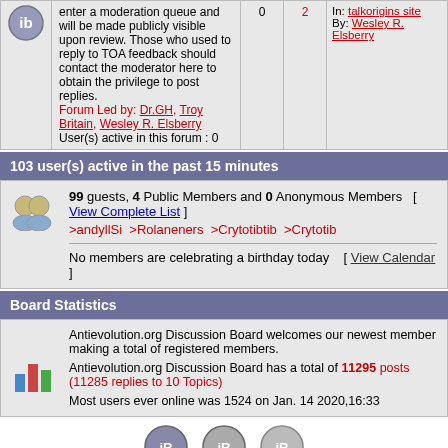enter a moderation queue and will be made publicly visible upon review. Those who used to reply to TOA feedback should contact the moderator here to obtain the privilege to post replies. Forum Led by: Dr.GH, Troy Britain, Wesley R. Elsberry. User(s) active in this forum : 0
103 user(s) active in the past 15 minutes
99 guests, 4 Public Members and 0 Anonymous Members [ View Complete List ] >andyllSi >Rolaneners >Crytotibtib >Crytotib No members are celebrating a birthday today [ View Calendar ]
Board Statistics
Antievolution.org Discussion Board welcomes our newest member making a total of registered members. Antievolution.org Discussion Board has a total of 11295 posts (11285 replies to 10 Topics). Most users ever online was 1524 on Jan. 14 2020,16:33
View New | No New | Read Only